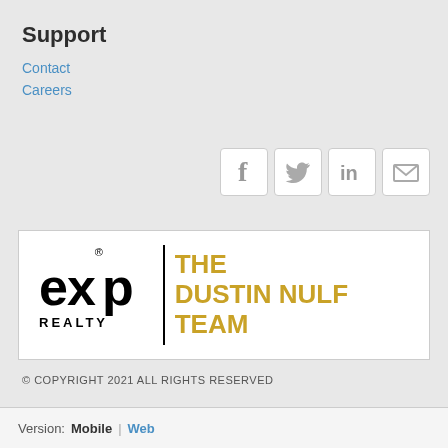Support
Contact
Careers
[Figure (infographic): Social media icon buttons: Facebook (f), Twitter (bird), LinkedIn (in), Email (envelope)]
[Figure (logo): eXp Realty logo on the left with a vertical divider line, and 'THE DUSTIN NULF TEAM' in gold text on the right]
© COPYRIGHT 2021 ALL RIGHTS RESERVED
Version: Mobile | Web